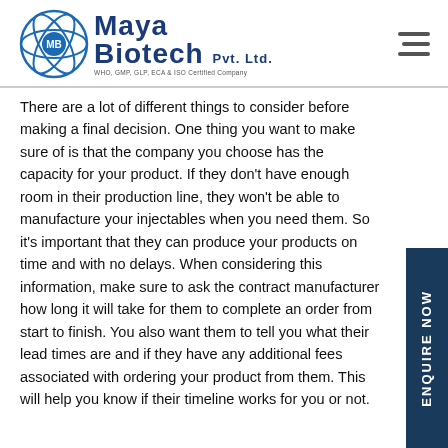Maya Biotech Pvt. Ltd. — WHO, GMP, GLP, ECA & ISO Certified Company
There are a lot of different things to consider before making a final decision. One thing you want to make sure of is that the company you choose has the capacity for your product. If they don't have enough room in their production line, they won't be able to manufacture your injectables when you need them. So it's important that they can produce your products on time and with no delays. When considering this information, make sure to ask the contract manufacturer how long it will take for them to complete an order from start to finish. You also want them to tell you what their lead times are and if they have any additional fees associated with ordering your product from them. This will help you know if their timeline works for you or not.